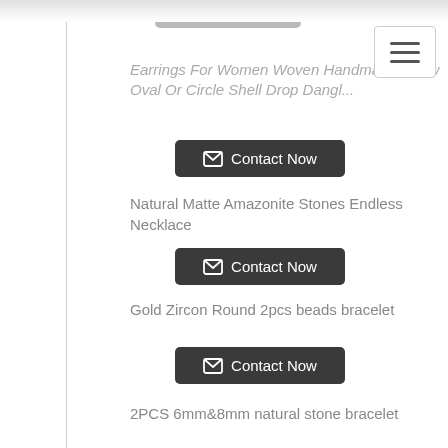[Figure (screenshot): Cropped e-commerce product listing page showing jewelry items with Contact Now buttons]
Earrings For Women Woven Handmade Straw Oval Or Circle Shell Drop Dangl...
Contact Now
Natural Matte Amazonite Stones Endless Necklace
Contact Now
Gold Zircon Round 2pcs beads bracelet
Contact Now
2PCS 6mm&8mm natural stone bracelet
Contact Now
Black Lion Head Matte Onyx Bracelet
Contact Now